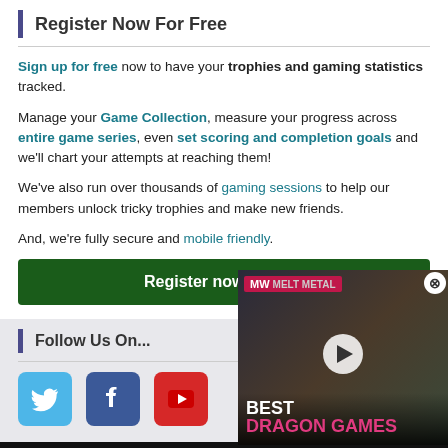Register Now For Free
Sign up for free now to have your trophies and gaming statistics tracked.
Manage your Game Collection, measure your progress across entire game series, even set scoring and completion goals and we'll chart your attempts at reaching them!
We've also run over thousands of gaming sessions to help our members unlock tricky trophies and make new friends.
And, we're fully secure and mobile friendly.
Register now for free
Follow Us On...
[Figure (infographic): Social media icons: Twitter (blue bird), Facebook (dark blue F), YouTube (red play button)]
[Figure (photo): Advertisement video thumbnail: MW logo, BEST DRAGON GAMES text overlay with play button, fantasy dragon scene]
Full list of PlayStation Games
PSVR Games